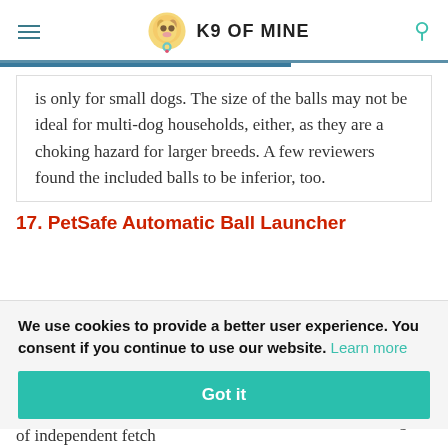K9 OF MINE
is only for small dogs. The size of the balls may not be ideal for multi-dog households, either, as they are a choking hazard for larger breeds. A few reviewers found the included balls to be inferior, too.
17. PetSafe Automatic Ball Launcher
We use cookies to provide a better user experience. You consent if you continue to use our website. Learn more
Got it